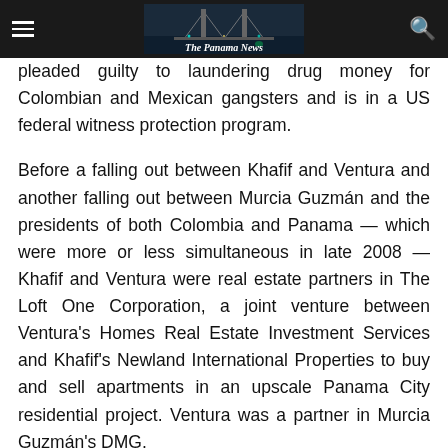The Panama News
pleaded guilty to laundering drug money for Colombian and Mexican gangsters and is in a US federal witness protection program.
Before a falling out between Khafif and Ventura and another falling out between Murcia Guzmán and the presidents of both Colombia and Panama — which were more or less simultaneous in late 2008 — Khafif and Ventura were real estate partners in The Loft One Corporation, a joint venture between Ventura's Homes Real Estate Investment Services and Khafif's Newland International Properties to buy and sell apartments in an upscale Panama City residential project. Ventura was a partner in Murcia Guzmán's DMG.
David Murcia Guzmán had been selling pirated videos on the streets of Santa Marta, Colombia, but shortly after a US...